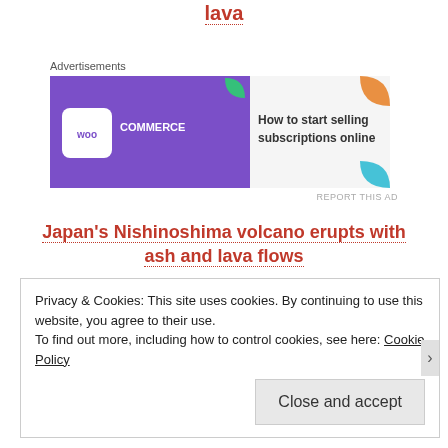lava
Advertisements
[Figure (illustration): WooCommerce advertisement banner: purple background with WooCommerce logo on left and text 'How to start selling subscriptions online' on right with colorful leaf shapes]
REPORT THIS AD
Japan's Nishinoshima volcano erupts with ash and lava flows
13,000 earthquakes swarm Tjornes Fracture Zone since June 19, Iceland
Privacy & Cookies: This site uses cookies. By continuing to use this website, you agree to their use.
To find out more, including how to control cookies, see here: Cookie Policy
Close and accept